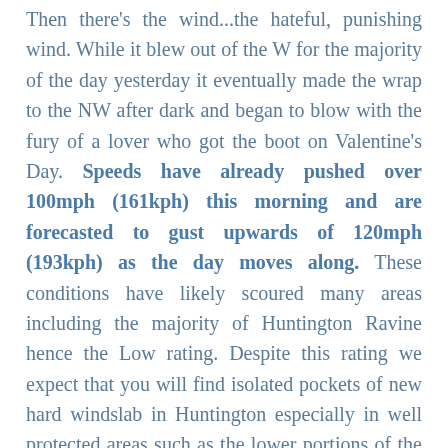Then there's the wind...the hateful, punishing wind. While it blew out of the W for the majority of the day yesterday it eventually made the wrap to the NW after dark and began to blow with the fury of a lover who got the boot on Valentine's Day. Speeds have already pushed over 100mph (161kph) this morning and are forecasted to gust upwards of 120mph (193kph) as the day moves along. These conditions have likely scoured many areas including the majority of Huntington Ravine hence the Low rating. Despite this rating we expect that you will find isolated pockets of new hard windslab in Huntington especially in well protected areas such as the lower portions of the gullies and upper part of the Fan. In Tuckerman the wind direction and speed have likely caused some scouring where